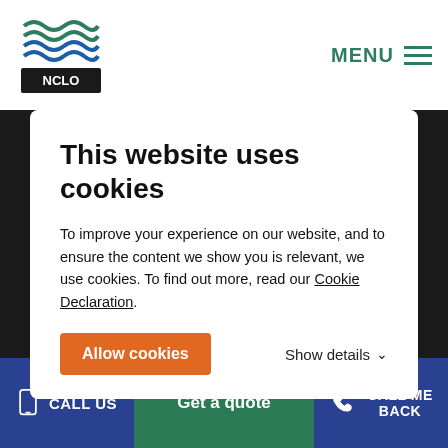[Figure (logo): NCLO / insurance company logo with green wave design]
MENU
This website uses cookies
To improve your experience on our website, and to ensure the content we show you is relevant, we use cookies. To find out more, read our Cookie Declaration.
Allow cookies
Show details
Jardine's Lookout is in the heart of a mountain zone, with peaks including Violet Hill, Mount Butler and Mount Nicholson.
CALL US
Get a quote
CALL ME BACK